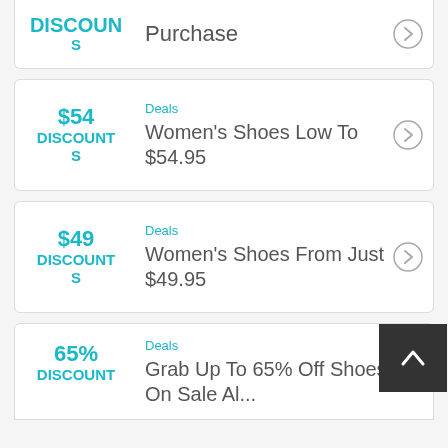DISCOUNTS — Purchase (partial, top card)
$54 DISCOUNTS — Deals — Women's Shoes Low To $54.95
$49 DISCOUNTS — Deals — Women's Shoes From Just $49.95
65% DISCOUNT — Deals — Grab Up To 65% Off Shoes On Sale Al...